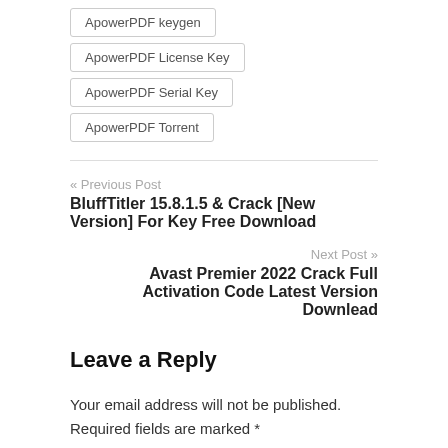ApowerPDF keygen
ApowerPDF License Key
ApowerPDF Serial Key
ApowerPDF Torrent
« Previous Post
BluffTitler 15.8.1.5 & Crack [New Version] For Key Free Download
Next Post »
Avast Premier 2022 Crack Full Activation Code Latest Version Downlead
Leave a Reply
Your email address will not be published. Required fields are marked *